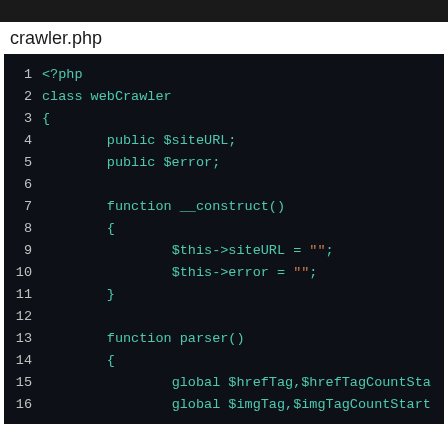crawler.php
[Figure (screenshot): PHP source code editor view showing lines 1-16 of crawler.php with syntax highlighting on a dark background. Code defines a webCrawler class with siteURL and error public properties, a __construct() method initializing them to empty strings, and start of a parser() function with global declarations.]